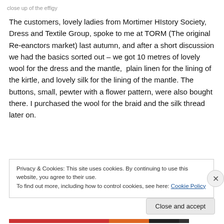close up of the effigy
The customers, lovely ladies from Mortimer HIstory Society, Dress and Textile Group, spoke to me at TORM (The original Re-eanctors market) last autumn, and after a short discussion we had the basics sorted out – we got 10 metres of lovely wool for the dress and the mantle,  plain linen for the lining of the kirtle, and lovely silk for the lining of the mantle. The buttons, small, pewter with a flower pattern, were also bought there. I purchased the wool for the braid and the silk thread later on.
Privacy & Cookies: This site uses cookies. By continuing to use this website, you agree to their use.
To find out more, including how to control cookies, see here: Cookie Policy